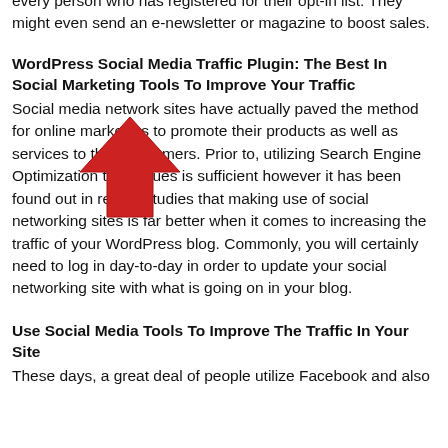every person who has registered for their opt-in list. They might even send an e-newsletter or magazine to boost sales.
WordPress Social Media Traffic Plugin: The Best In Social Marketing Tools To Improve Your Traffic
Social media network sites have actually paved the method for online marketers to promote their products as well as services to their customers. Prior to, utilizing Search Engine Optimization techniques is sufficient however it has been found out in recent studies that making use of social networking sites is far better when it comes to increasing the traffic of your WordPress blog. Commonly, you will certainly need to log in day-to-day in order to update your social networking site with what is going on in your blog.
Use Social Media Tools To Improve The Traffic In Your Site
These days, a great deal of people utilize Facebook and also